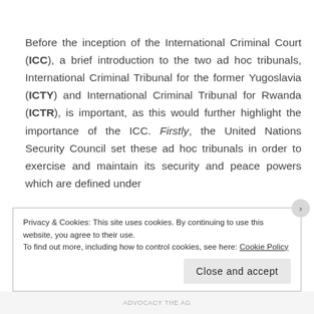Before the inception of the International Criminal Court (ICC), a brief introduction to the two ad hoc tribunals, International Criminal Tribunal for the former Yugoslavia (ICTY) and International Criminal Tribunal for Rwanda (ICTR), is important, as this would further highlight the importance of the ICC. Firstly, the United Nations Security Council set these ad hoc tribunals in order to exercise and maintain its security and peace powers which are defined under
Privacy & Cookies: This site uses cookies. By continuing to use this website, you agree to their use.
To find out more, including how to control cookies, see here: Cookie Policy
Close and accept
ADVOCACY THE AG